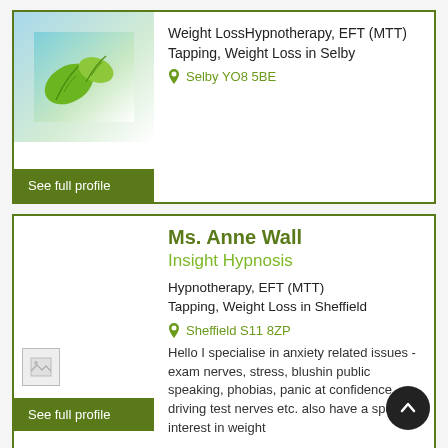[Figure (photo): Green leaves illustration on blue/white gradient background - top card thumbnail]
Weight LossHypnotherapy, EFT (MTT) Tapping, Weight Loss in Selby
Selby YO8 5BE
See full profile
Ms. Anne Wall
Insight Hypnosis
Hypnotherapy, EFT (MTT) Tapping, Weight Loss in Sheffield
Sheffield S11 8ZP
[Figure (photo): Broken/loading image placeholder for Ms. Anne Wall profile photo]
See full profile
Hello I specialise in anxiety related issues - exam nerves, stress, blushing, public speaking, phobias, panic at confidence, driving test nerves etc. also have a special interest in weight